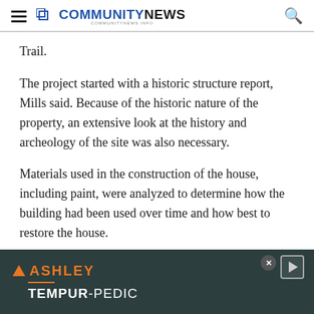COMMUNITY NEWS
Trail.
The project started with a historic structure report, Mills said. Because of the historic nature of the property, an extensive look at the history and archeology of the site was also necessary.
Materials used in the construction of the house, including paint, were analyzed to determine how the building had been used over time and how best to restore the house.
[Figure (screenshot): Ashley Tempur-Pedic advertisement banner with dark teal background, Ashley logo in orange, and Tempur-Pedic text in white.]